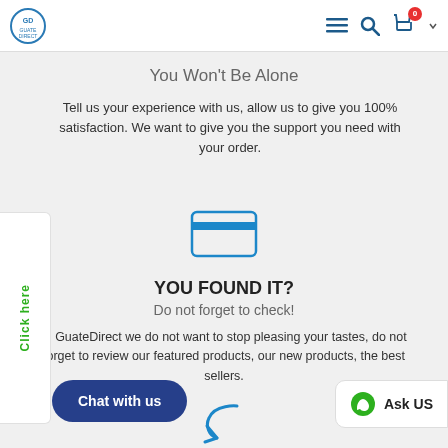Guate Direct header with logo, menu, search, cart icons
You Won't Be Alone
Tell us your experience with us, allow us to give you 100% satisfaction. We want to give you the support you need with your order.
[Figure (illustration): Credit card icon in teal/blue outline style]
YOU FOUND IT?
Do not forget to check!
In GuateDirect we do not want to stop pleasing your tastes, do not forget to review our featured products, our new products, the best sellers.
[Figure (illustration): Reply/refresh arrow icon in teal outline style at bottom center]
Chat with us
Ask US